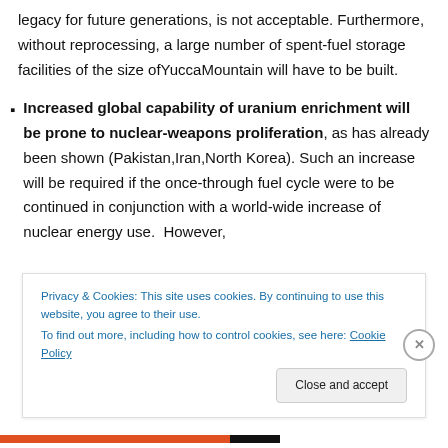legacy for future generations, is not acceptable. Furthermore, without reprocessing, a large number of spent-fuel storage facilities of the size ofYuccaMountain will have to be built.
Increased global capability of uranium enrichment will be prone to nuclear-weapons proliferation, as has already been shown (Pakistan,Iran,North Korea). Such an increase will be required if the once-through fuel cycle were to be continued in conjunction with a world-wide increase of nuclear energy use.  However,
Privacy & Cookies: This site uses cookies. By continuing to use this website, you agree to their use.
To find out more, including how to control cookies, see here: Cookie Policy